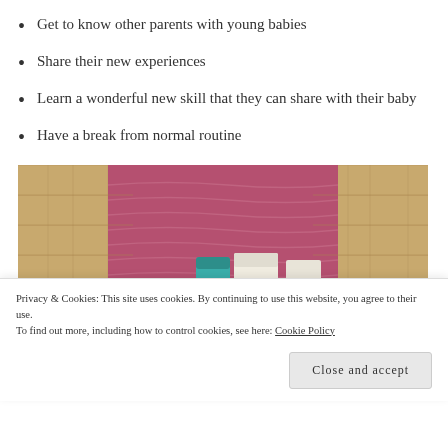Get to know other parents with young babies
Share their new experiences
Learn a wonderful new skill that they can share with their baby
Have a break from normal routine
[Figure (photo): Yoga mat (pink/red) on a wooden floor with some baby wipes and other items placed on it]
Privacy & Cookies: This site uses cookies. By continuing to use this website, you agree to their use.
To find out more, including how to control cookies, see here: Cookie Policy
Close and accept